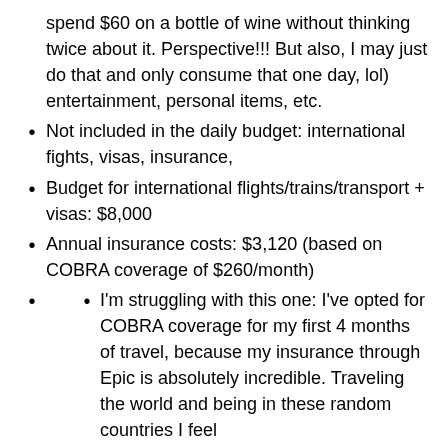spend $60 on a bottle of wine without thinking twice about it. Perspective!!! But also, I may just do that and only consume that one day, lol) entertainment, personal items, etc.
Not included in the daily budget: international fights, visas, insurance,
Budget for international flights/trains/transport + visas: $8,000
Annual insurance costs: $3,120 (based on COBRA coverage of $260/month)
I'm struggling with this one: I've opted for COBRA coverage for my first 4 months of travel, because my insurance through Epic is absolutely incredible. Traveling the world and being in these random countries I feel